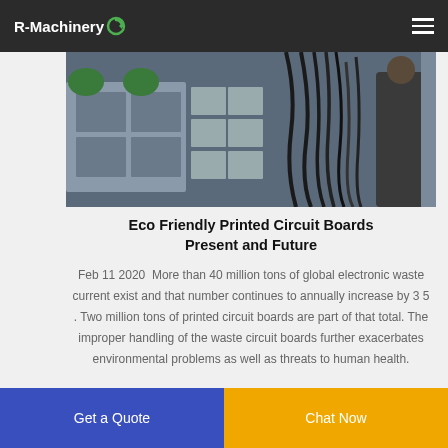R-Machinery
[Figure (photo): Industrial machinery with cables and equipment in a recycling facility]
Eco Friendly Printed Circuit Boards Present and Future
Feb 11 2020  More than 40 million tons of global electronic waste current exist and that number continues to annually increase by 3 5 . Two million tons of printed circuit boards are part of that total. The improper handling of the waste circuit boards further exacerbates environmental problems as well as threats to human health.
Get a Quote
Chat Now